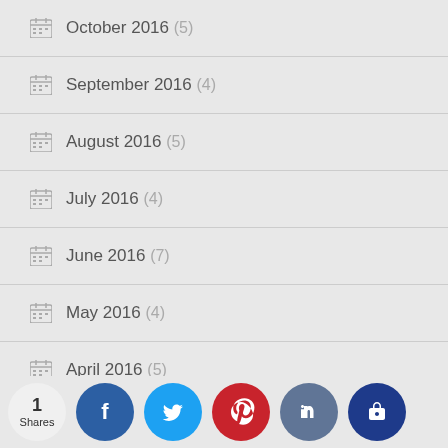October 2016 (5)
September 2016 (4)
August 2016 (5)
July 2016 (4)
June 2016 (7)
May 2016 (4)
April 2016 (5)
March 2016 (7)
February 2016 (7)
January 2016 (...)